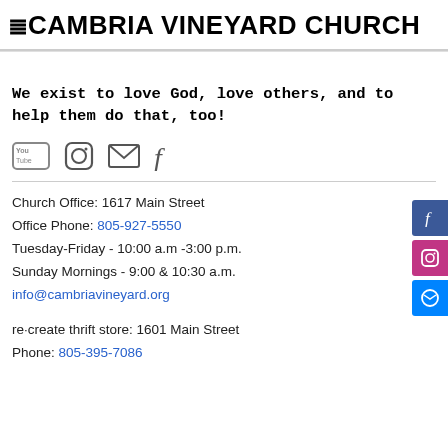CAMBRIA VINEYARD CHURCH
We exist to love God, love others, and to help them do that, too!
[Figure (other): Social media icons: YouTube, Instagram, Email, Facebook]
Church Office: 1617 Main Street
Office Phone: 805-927-5550
Tuesday-Friday - 10:00 a.m -3:00 p.m.
Sunday Mornings - 9:00 & 10:30 a.m.
info@cambriavineyard.org
re·create thrift store: 1601 Main Street
Phone: 805-395-7086